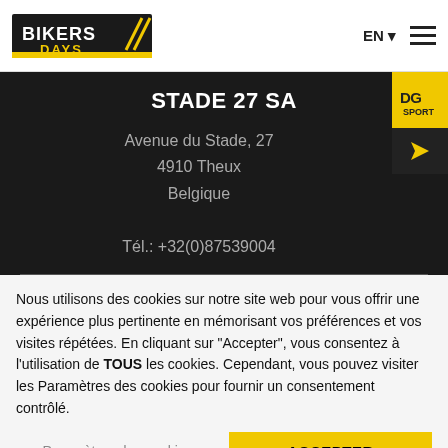BIKERS DAYS – EN ▼ ≡
STADE 27 SA
Avenue du Stade, 27
4910 Theux
Belgique

Tél.: +32(0)87539004
Nous utilisons des cookies sur notre site web pour vous offrir une expérience plus pertinente en mémorisant vos préférences et vos visites répétées. En cliquant sur "Accepter", vous consentez à l'utilisation de TOUS les cookies. Cependant, vous pouvez visiter les Paramètres des cookies pour fournir un consentement contrôlé.
Paramètres des cookies | ACCEPTER